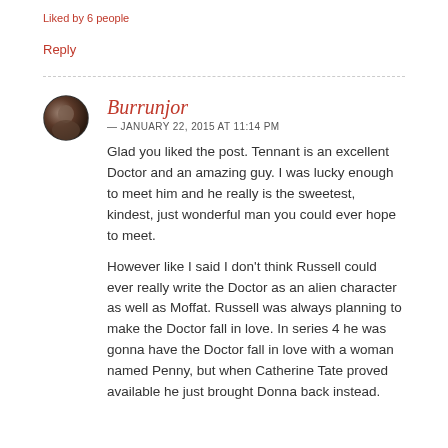Liked by 6 people
Reply
Burrunjor
— JANUARY 22, 2015 AT 11:14 PM
Glad you liked the post. Tennant is an excellent Doctor and an amazing guy. I was lucky enough to meet him and he really is the sweetest, kindest, just wonderful man you could ever hope to meet.
However like I said I don't think Russell could ever really write the Doctor as an alien character as well as Moffat. Russell was always planning to make the Doctor fall in love. In series 4 he was gonna have the Doctor fall in love with a woman named Penny, but when Catherine Tate proved available he just brought Donna back instead.